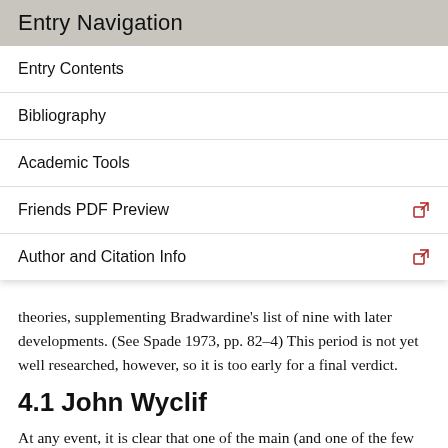Entry Navigation
Entry Contents
Bibliography
Academic Tools
Friends PDF Preview
Author and Citation Info
theories, supplementing Bradwardine's list of nine with later developments. (See Spade 1973, pp. 82–4) This period is not yet well researched, however, so it is too early for a final verdict.
4.1 John Wyclif
At any event, it is clear that one of the main (and one of the few genuinely new) theories to emerge from this late period is that of John Wyclif, who wrote a Summa of Insolubles (Summa insolubilium), [31] probably in the early 1360s, and included another discussion of insolubles